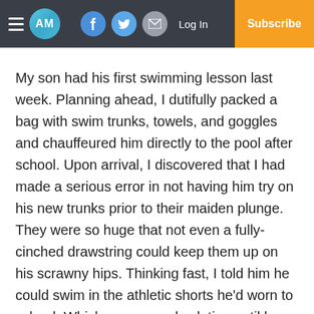AM | Log In | Subscribe
My son had his first swimming lesson last week. Planning ahead, I dutifully packed a bag with swim trunks, towels, and goggles and chauffeured him directly to the pool after school. Upon arrival, I discovered that I had made a serious error in not having him try on his new trunks prior to their maiden plunge. They were so huge that not even a fully-cinched drawstring could keep them up on his scrawny hips. Thinking fast, I told him he could swim in the athletic shorts he’d worn to school. Which was a good solution until he got out of the pool and I realized I didn’t have any other clothes for him to put